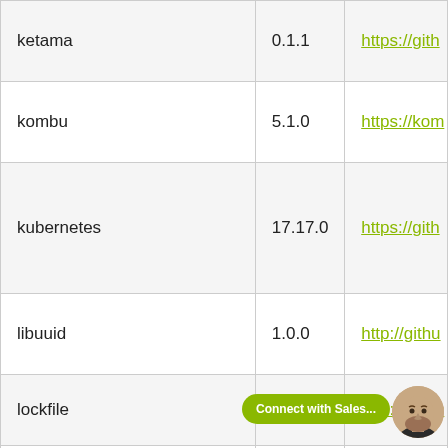| ketama | 0.1.1 | https://gith… |
| kombu | 5.1.0 | https://kom… |
| kubernetes | 17.17.0 | https://gith… |
| libuuid | 1.0.0 | http://githu… |
| lockfile | 0.12.2 | http://launc… |
| MarkupSafe | 2.0.1 | https://pall… |
|  |  |  |